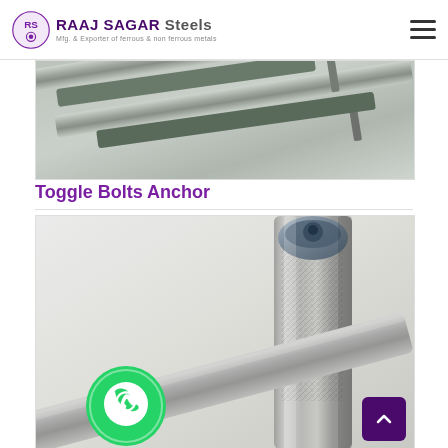RAAJ SAGAR Steels – Mfg. & Exporter of ferrous & non ferrous metals
[Figure (photo): Close-up photo of metallic toggle bolts / threaded steel rods laid diagonally on a grey surface]
Toggle Bolts Anchor
[Figure (photo): Close-up photo of a stainless steel anchor bolt with knurled body and hex head, with bolt shaft visible at bottom]